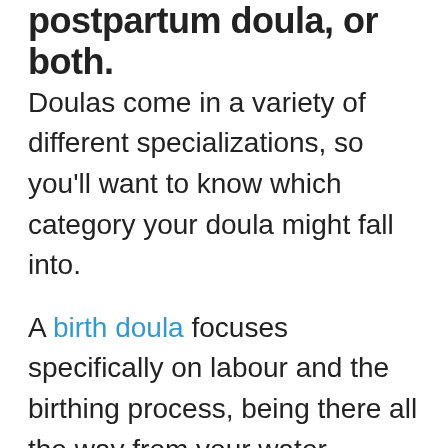postpartum doula, or both.
Doulas come in a variety of different specializations, so you'll want to know which category your doula might fall into.
A birth doula focuses specifically on labour and the birthing process, being there all the way from your water breaking through to delivery. A postnatal doula would come into the picture just after birth, helping new mamas with breastfeeding, baby-wearing, basic care of their new baby, and will even usually do some laundry and prepare some light meals while they're there! Then there are doulas that offer both birth doula and postpartum doula services, and will be with you from pre-labour through to